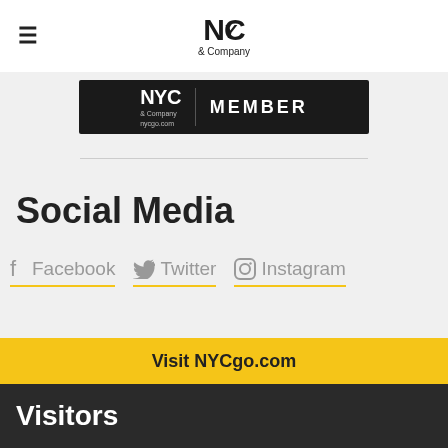NYC & Company
[Figure (logo): NYC & Company nycgo.com MEMBER badge on black background]
Social Media
Facebook  Twitter  Instagram
Visit NYCgo.com
Visitors